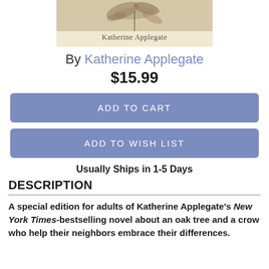[Figure (illustration): Partial view of book cover with beige/tan background showing decorative elements and the author name 'Katherine Applegate' at the bottom of the cover]
By Katherine Applegate
$15.99
ADD TO CART
ADD TO WISH LIST
Usually Ships in 1-5 Days
DESCRIPTION
A special edition for adults of Katherine Applegate's New York Times-bestselling novel about an oak tree and a crow who help their neighbors embrace their differences.